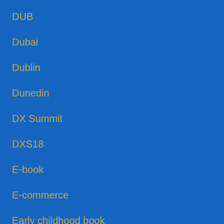DUB
Dubai
Dublin
Dunedin
DX Summit
DXS18
E-book
E-commerce
Early childhood book
Ebook